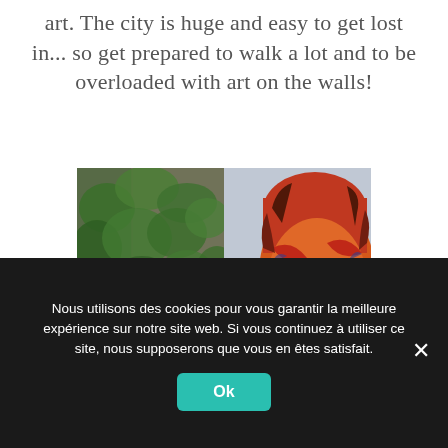...Berlin is a must-go and see in terms of street art. The city is huge and easy to get lost in... so get prepared to walk a lot and to be overloaded with art on the walls!
[Figure (photo): Two side-by-side photos: left shows a stone wall covered with green ivy, right shows a colorful street art mural of a woman's face in red, orange, yellow, and blue tones]
Nous utilisons des cookies pour vous garantir la meilleure expérience sur notre site web. Si vous continuez à utiliser ce site, nous supposerons que vous en êtes satisfait.